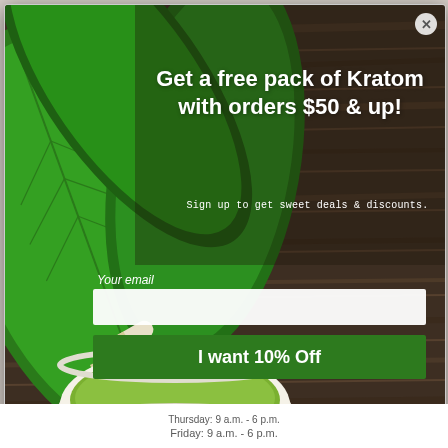[Figure (photo): Popup modal with kratom leaves, capsules and green powder bowl on dark wood background]
Get a free pack of Kratom with orders $50 & up!
Sign up to get sweet deals & discounts.
Your email
I want 10% Off
Thursday: 9 a.m. - 6 p.m.
Friday: 9 a.m. - 6 p.m.